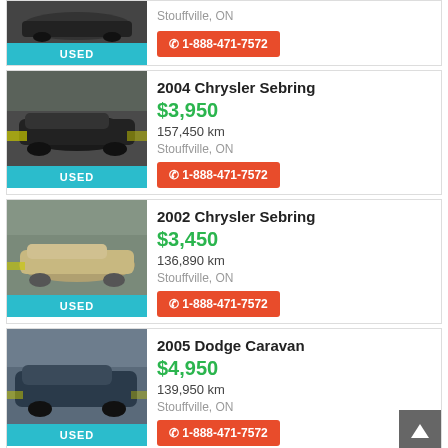[Figure (photo): Partial top listing: car photo (dark vehicle), USED badge, Stouffville ON location, phone button 1-888-471-7572]
Stouffville, ON
USED  ☎ 1-888-471-7572
[Figure (photo): 2004 Chrysler Sebring black sedan car photo]
2004 Chrysler Sebring
$3,950
157,450 km
Stouffville, ON
USED  ☎ 1-888-471-7572
[Figure (photo): 2002 Chrysler Sebring gold/tan sedan car photo]
2002 Chrysler Sebring
$3,450
136,890 km
Stouffville, ON
USED  ☎ 1-888-471-7572
[Figure (photo): 2005 Dodge Caravan dark blue minivan car photo]
2005 Dodge Caravan
$4,950
139,950 km
Stouffville, ON
USED  ☎ 1-888-471-7572
VIEW FULL INVENTORY